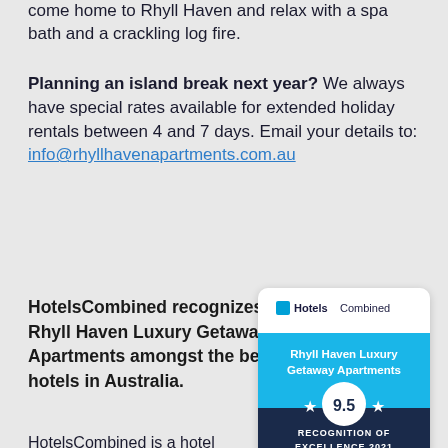come home to Rhyll Haven and relax with a spa bath and a crackling log fire.
Planning an island break next year? We always have special rates available for extended holiday rentals between 4 and 7 days. Email your details to: info@rhyllhavenapartments.com.au
HotelsCombined recognizes Rhyll Haven Luxury Getaway Apartments amongst the best hotels in Australia.
[Figure (other): HotelsCombined Recognition of Excellence 2021 badge showing Rhyll Haven Luxury Getaway Apartments with a score of 9.5 out of 10.]
HotelsCombined is a hotel